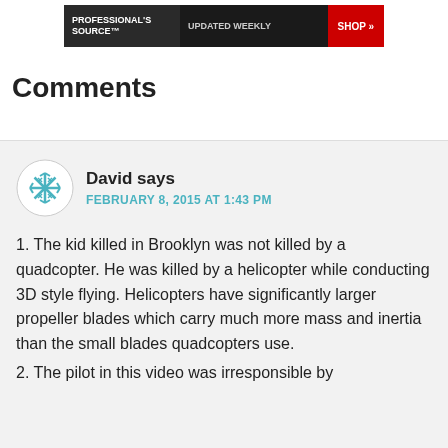[Figure (screenshot): Banner advertisement with text 'PROFESSIONAL'S SOURCE™', 'UPDATED WEEKLY', and 'SHOP »' on dark background with red button]
Comments
David says
FEBRUARY 8, 2015 AT 1:43 PM
1. The kid killed in Brooklyn was not killed by a quadcopter. He was killed by a helicopter while conducting 3D style flying. Helicopters have significantly larger propeller blades which carry much more mass and inertia than the small blades quadcopters use.
2. The pilot in this video was irresponsible by